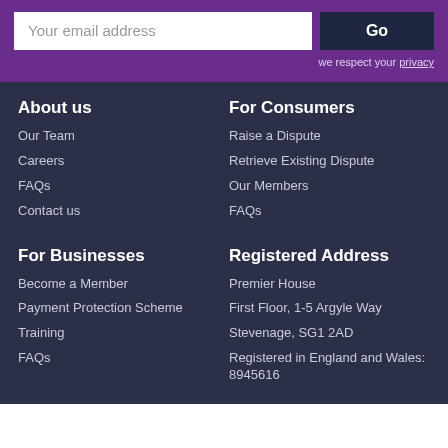Your email address
Go
we respect your privacy
About us
Our Team
Careers
FAQs
Contact us
For Consumers
Raise a Dispute
Retrieve Existing Dispute
Our Members
FAQs
For Businesses
Become a Member
Payment Protection Scheme
Training
FAQs
Registered Address
Premier House
First Floor, 1-5 Argyle Way
Stevenage, SG1 2AD
Registered in England and Wales: 8945616